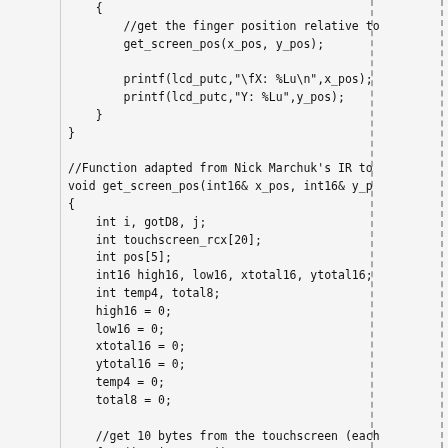Code listing showing get_screen_pos function and surrounding code including touchscreen reading and 0xD8 detection logic